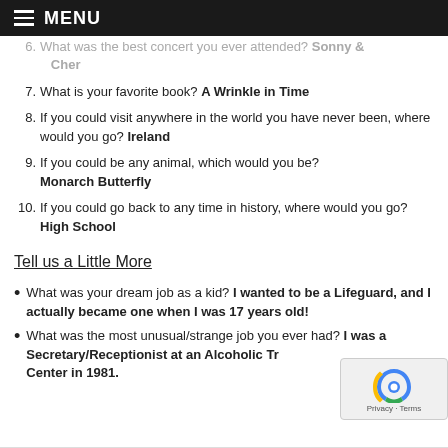MENU
6. What was the best concert you ever attended? Sonny & Cher
7. What is your favorite book? A Wrinkle in Time
8. If you could visit anywhere in the world you have never been, where would you go? Ireland
9. If you could be any animal, which would you be? Monarch Butterfly
10. If you could go back to any time in history, where would you go? High School
Tell us a Little More
What was your dream job as a kid? I wanted to be a Lifeguard, and I actually became one when I was 17 years old!
What was the most unusual/strange job you ever had? I was a Secretary/Receptionist at an Alcoholic Treatment Center in 1981.